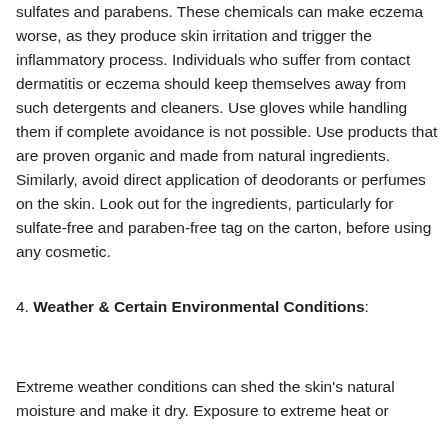sulfates and parabens. These chemicals can make eczema worse, as they produce skin irritation and trigger the inflammatory process. Individuals who suffer from contact dermatitis or eczema should keep themselves away from such detergents and cleaners. Use gloves while handling them if complete avoidance is not possible. Use products that are proven organic and made from natural ingredients. Similarly, avoid direct application of deodorants or perfumes on the skin. Look out for the ingredients, particularly for sulfate-free and paraben-free tag on the carton, before using any cosmetic.
4. Weather & Certain Environmental Conditions:
Extreme weather conditions can shed the skin's natural moisture and make it dry. Exposure to extreme heat or